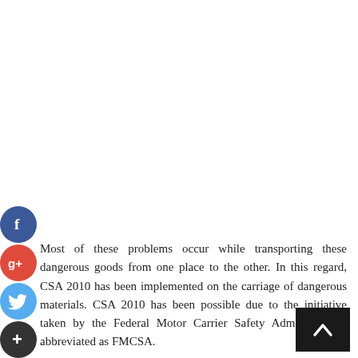[Figure (other): Social media share buttons (Facebook, Google+, Twitter, plus/add) as circular icons on the left side of the page]
Most of these problems occur while transporting these dangerous goods from one place to the other. In this regard, CSA 2010 has been implemented on the carriage of dangerous materials. CSA 2010 has been possible due to the initiative taken by the Federal Motor Carrier Safety Administration, abbreviated as FMCSA.
[Figure (other): Back-to-top navigation button (dark/black square with upward chevron arrow) in the bottom right corner]